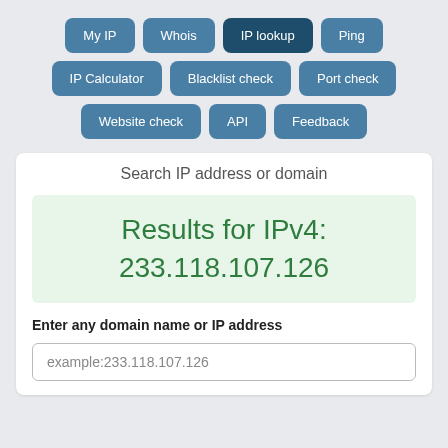[Figure (screenshot): Navigation buttons row 1: My IP, Whois, IP lookup (active/dark), Ping]
[Figure (screenshot): Navigation buttons row 2: IP Calculator, Blacklist check, Port check]
[Figure (screenshot): Navigation buttons row 3: Website check, API, Feedback]
Search IP address or domain
Results for IPv4:
233.118.107.126
Enter any domain name or IP address
example:233.118.107.126